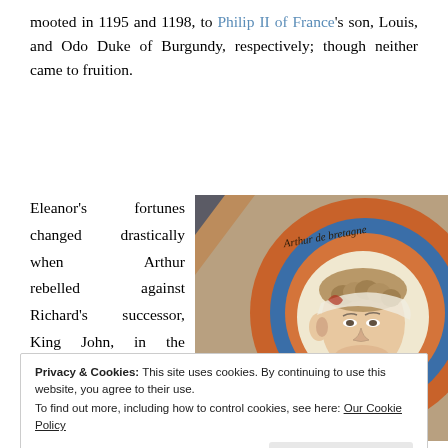mooted in 1195 and 1198, to Philip II of France's son, Louis, and Odo Duke of Burgundy, respectively; though neither came to fruition.
Eleanor's fortunes changed drastically when Arthur rebelled against Richard's successor, King John, in the early 1200s. As the
[Figure (photo): Medieval illuminated manuscript roundel depicting a young person (Arthur) with curly hair, labeled with Gothic script reading 'Arthur de Bretagne' or similar, on orange and blue background.]
Privacy & Cookies: This site uses cookies. By continuing to use this website, you agree to their use.
To find out more, including how to control cookies, see here: Our Cookie Policy
sidelined in favour